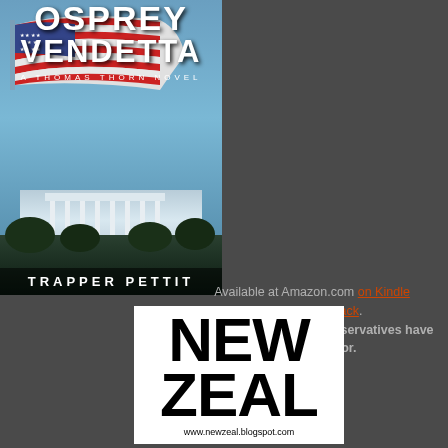[Figure (illustration): Book cover for 'Osprey Vendetta - A Thomas Thorn Novel' by Trapper Pettit, showing an American flag waving over the White House]
Available at Amazon.com on Kindle and in Paperback. This is the novel that conservatives have been dying for.
[Figure (logo): New Zeal blog logo with text NEW ZEAL and website www.newzeal.blogspot.com]